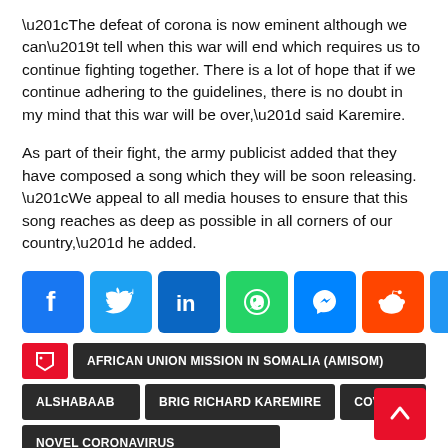“The defeat of corona is now eminent although we can’t tell when this war will end which requires us to continue fighting together. There is a lot of hope that if we continue adhering to the guidelines, there is no doubt in my mind that this war will be over,” said Karemire.
As part of their fight, the army publicist added that they have composed a song which they will be soon releasing. “We appeal to all media houses to ensure that this song reaches as deep as possible in all corners of our country,” he added.
[Figure (infographic): Social media share icons: Facebook (blue), Twitter (light blue), LinkedIn (dark blue), WhatsApp (green), Messenger (blue), Reddit (orange-red), Share/Add (blue)]
AFRICAN UNION MISSION IN SOMALIA (AMISOM)
ALSHABAAB
BRIG RICHARD KAREMIRE
COVID-19
NOVEL CORONAVIRUS
UGANDA PEOPLE'S DEFENSE FORCES (UPDF)
UPDF